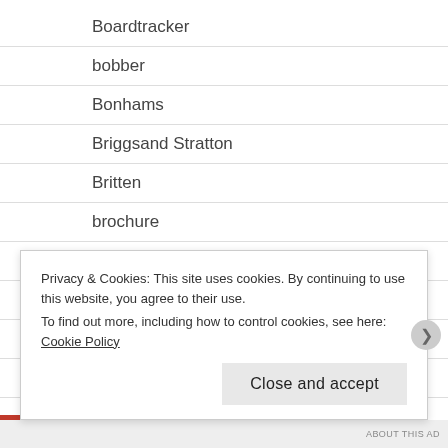Boardtracker
bobber
Bonhams
Briggsand Stratton
Britten
brochure
Brough
BSA
BUB
budget build
Privacy & Cookies: This site uses cookies. By continuing to use this website, you agree to their use.
To find out more, including how to control cookies, see here: Cookie Policy
Close and accept